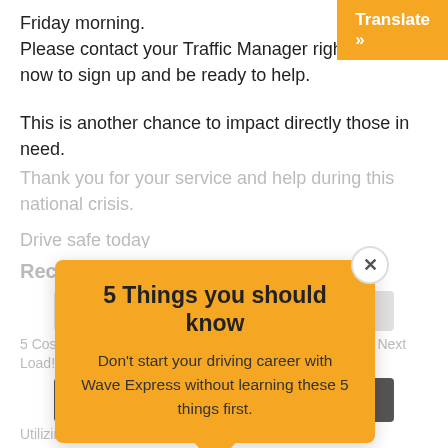Friday morning.
Please contact your Traffic Manager right now to sign up and be ready to help.
This is another chance to impact directly those in need.
Thank you for your service and help during this national crisis.
Drive safe today
[Figure (other): Popup dialog box with orange background, title '5 Things you should know', subtitle text 'Don't start your driving career with Wave Express without learning these 5 things first.', a close (x) button in top-right corner, and a speech bubble tail at the bottom.]
Recent Posts
Email
5 Cost-Saving Actions To Ensure The Most Profit on Your Next Load!
Learn More
Utilizing Your Discounts: How This Helps Your Profit